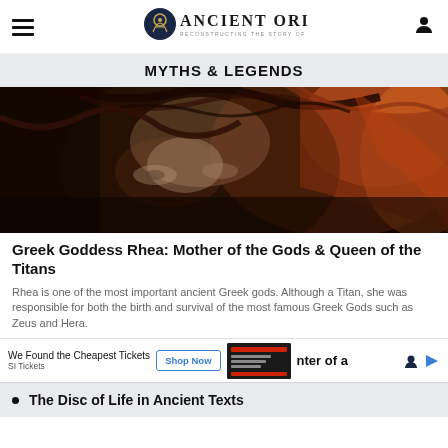Ancient Origins — Reconstructing the Story of Humanity's Past
MYTHS & LEGENDS
[Figure (photo): Close-up artistic illustration of a face with swirling dark patterns, intense eyes, orange and dark tones — mythological goddess figure]
Greek Goddess Rhea: Mother of the Gods & Queen of the Titans
Rhea is one of the most important ancient Greek gods. Although a Titan, she was responsible for both the birth and survival of the most famous Greek Gods such as Zeus and Hera.
We Found the Cheapest Tickets — Shop Now — SI Tickets — [ad] nter of a
The Disc of Life in Ancient Texts